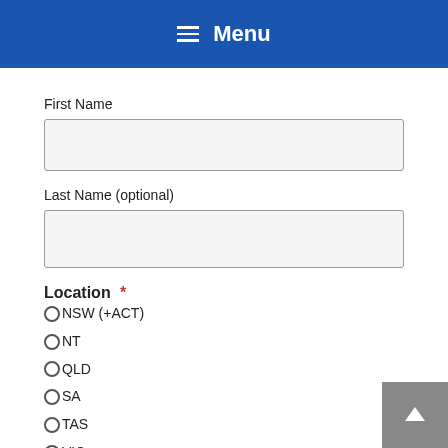Menu
First Name
Last Name (optional)
Location *
NSW (+ACT)
NT
QLD
SA
TAS
VIC
WA
NZ
Not Australia or New Zealand